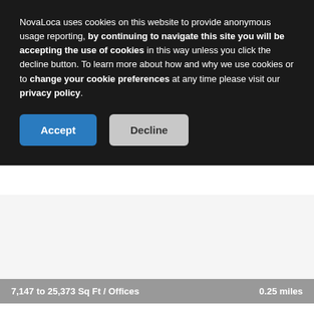NovaLoca uses cookies on this website to provide anonymous usage reporting, by continuing to navigate this site you will be accepting the use of cookies in this way unless you click the decline button. To learn more about how and why we use cookies or to change your cookie preferences at any time please visit our privacy policy.
[Figure (screenshot): Cookie consent banner with Accept and Decline buttons on dark background]
7,147 to 25,373 Sq Ft / Offices
0.25 miles
2 Lochrin Square, Edinburgh, EH3 9QA
TO LET